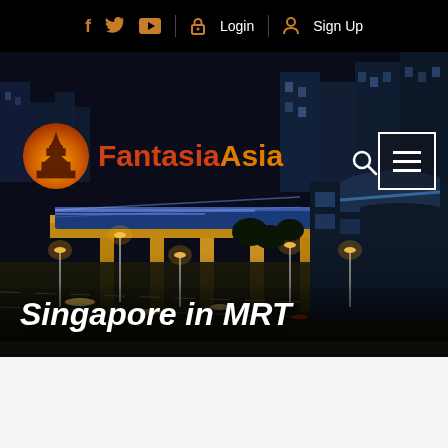f  t  yt  Login  Sign Up
[Figure (logo): FantasiaAsia logo with orange temple silhouette circle and brand name text]
[Figure (photo): Aerial night photograph of Singapore MRT elevated track with city lights and traffic]
Singapore in MRT